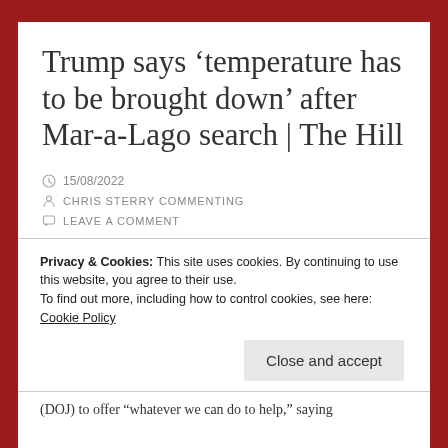Trump says ‘temperature has to be brought down’ after Mar-a-Lago search | The Hill
15/08/2022
CHRIS STERRY COMMENTING
LEAVE A COMMENT
Privacy & Cookies: This site uses cookies. By continuing to use this website, you agree to their use.
To find out more, including how to control cookies, see here: Cookie Policy
Close and accept
(DOJ) to offer “whatever we can do to help,” saying